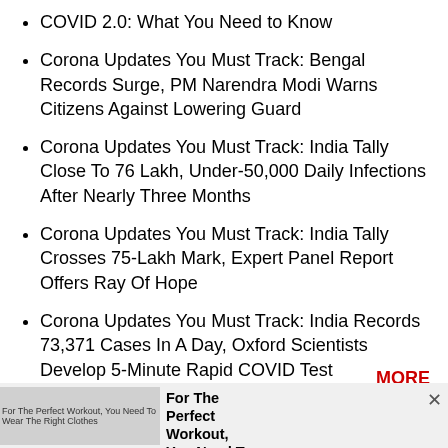COVID 2.0: What You Need to Know
Corona Updates You Must Track: Bengal Records Surge, PM Narendra Modi Warns Citizens Against Lowering Guard
Corona Updates You Must Track: India Tally Close To 76 Lakh, Under-50,000 Daily Infections After Nearly Three Months
Corona Updates You Must Track: India Tally Crosses 75-Lakh Mark, Expert Panel Report Offers Ray Of Hope
Corona Updates You Must Track: India Records 73,371 Cases In A Day, Oxford Scientists Develop 5-Minute Rapid COVID Test
MORE
[Figure (other): Advertisement banner: For The Perfect Workout, You Need To Wear The Right Clothes]